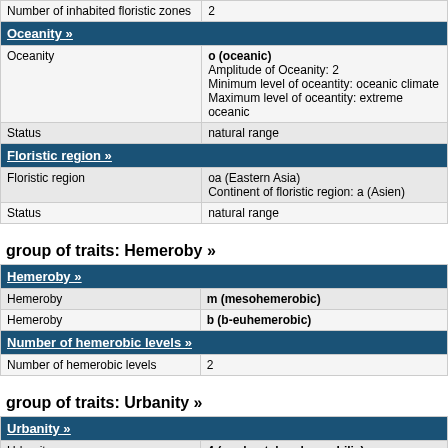| Number of inhabited floristic zones | 2 |
| Oceanity » |  |
| Oceanity | o (oceanic)
Amplitude of Oceanity: 2
Minimum level of oceantity: oceanic climate
Maximum level of oceantity: extreme oceanic |
| Status | natural range |
| Floristic region » |  |
| Floristic region | oa (Eastern Asia)
Continent of floristic region: a (Asien) |
| Status | natural range |
group of traits: Hemeroby »
| Hemeroby » |  |
| Hemeroby | m (mesohemerobic) |
| Hemeroby | b (b-euhemerobic) |
| Number of hemerobic levels » |  |
| Number of hemerobic levels | 2 |
group of traits: Urbanity »
| Urbanity » |  |
| Urbanity | 4 (moderately urbanophilic) |